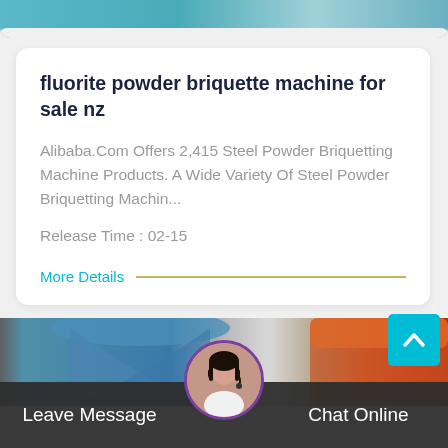[Figure (photo): Top partial image of industrial machine with teal/blue tones]
fluorite powder briquette machine for sale nz
Alibaba.Com Offers 2,415 Steel Powder Briquetting Machine Products. A Wide Variety Of Steel Powder Briquetting Machin...
Release Time : 02-15
More Details
[Figure (photo): Bottom partial image of industrial briquetting machines in blue and orange colors]
Leave Message
Chat Online